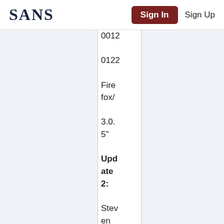SANS | Sign In | Sign Up
0012
0122
Firefox/
3.0.
5"
Update 2:
Steven Adair from Shad...